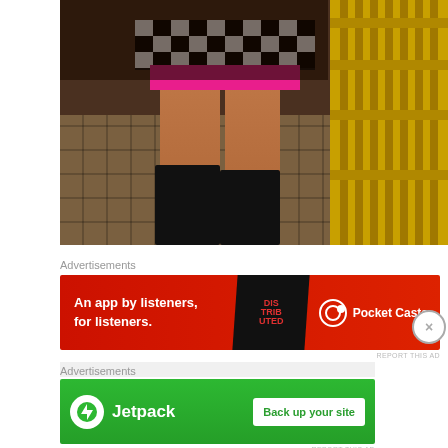[Figure (photo): Photo of a person wearing a black and white checkered mini skirt with hot pink shorts underneath, tall strappy black gladiator heeled sandals, standing on tiled pavement next to a yellow metal crowd control barrier]
Advertisements
[Figure (other): Pocket Casts advertisement banner: 'An app by listeners, for listeners.' with red background and Pocket Casts logo]
REPORT THIS AD
Advertisements
[Figure (other): Jetpack advertisement banner: Jetpack logo on green background with 'Back up your site' white button]
REPORT THIS AD